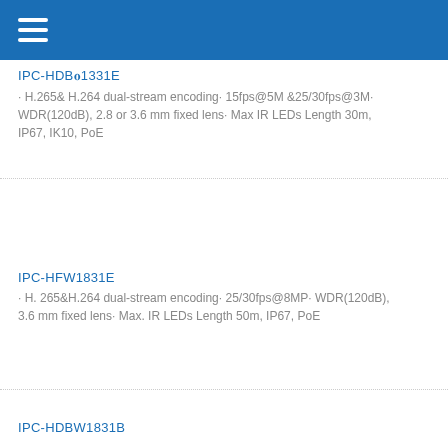IPC-HDB W1331E
· H.265& H.264 dual-stream encoding· 15fps@5M &25/30fps@3M· WDR(120dB), 2.8 or 3.6 mm fixed lens· Max IR LEDs Length 30m, IP67, IK10, PoE
IPC-HFW1831E
· H. 265&H.264 dual-stream encoding· 25/30fps@8MP· WDR(120dB), 3.6 mm fixed lens· Max. IR LEDs Length 50m, IP67, PoE
IPC-HDBW1831B